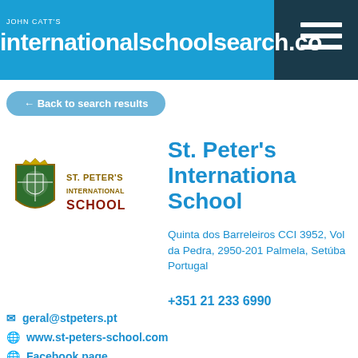JOHN CATTS internationalschoolsearch.com
← Back to search results
[Figure (logo): St. Peter's International School shield logo with green and white crest, gold and dark red wordmark reading ST. PETER'S INTERNATIONAL SCHOOL]
St. Peter's International School
Quinta dos Barreleiros CCI 3952, Vol da Pedra, 2950-201 Palmela, Setúba Portugal
+351 21 233 6990
geral@stpeters.pt
www.st-peters-school.com
Facebook page